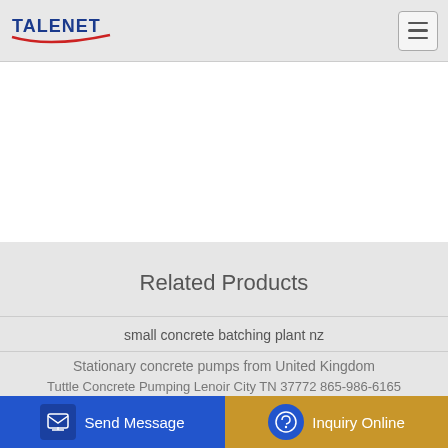TALENET
[Figure (screenshot): White empty content area]
Related Products
small concrete batching plant nz
Inline Series Batching And Mixing Plant
Stationary concrete pumps from United Kingdom
Tuttle Concrete Pumping Lenoir City TN 37772 865-986-6165
Send Message | Inquiry Online